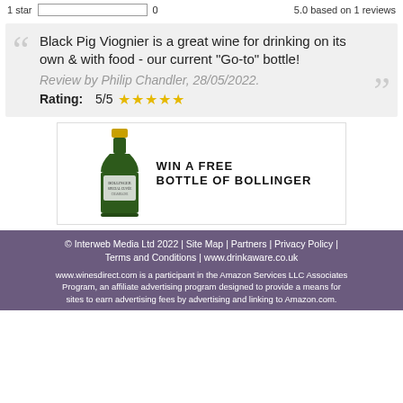1 star  [bar]  0   5.0 based on 1 reviews
Black Pig Viognier is a great wine for drinking on its own & with food - our current "Go-to" bottle!
Review by Philip Chandler, 28/05/2022.
Rating: 5/5 ★★★★★
[Figure (infographic): Advertisement banner: champagne bottle image with text WIN A FREE BOTTLE OF BOLLINGER]
© Interweb Media Ltd 2022 | Site Map | Partners | Privacy Policy | Terms and Conditions | www.drinkaware.co.uk
www.winesdirect.com is a participant in the Amazon Services LLC Associates Program, an affiliate advertising program designed to provide a means for sites to earn advertising fees by advertising and linking to Amazon.com.